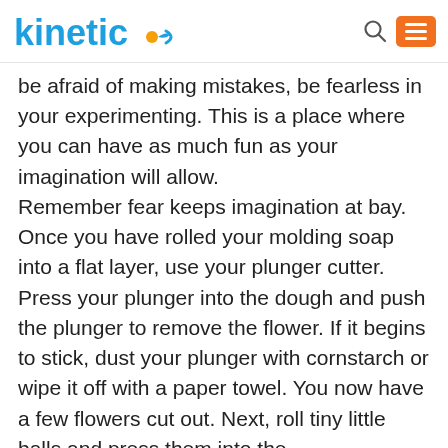kinetico
be afraid of making mistakes, be fearless in your experimenting. This is a place where you can have as much fun as your imagination will allow. Remember fear keeps imagination at bay. Once you have rolled your molding soap into a flat layer, use your plunger cutter. Press your plunger into the dough and push the plunger to remove the flower. If it begins to stick, dust your plunger with cornstarch or wipe it off with a paper towel. You now have a few flowers cut out. Next, roll tiny little balls and press them into the centers of your flowers